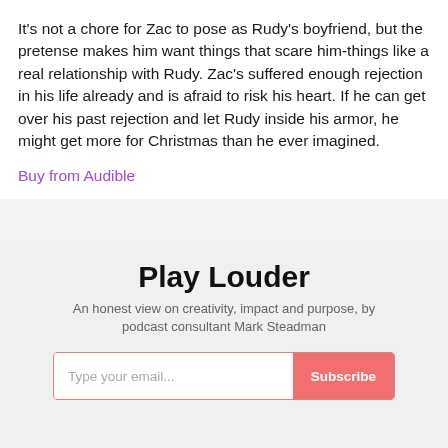It's not a chore for Zac to pose as Rudy's boyfriend, but the pretense makes him want things that scare him-things like a real relationship with Rudy. Zac's suffered enough rejection in his life already and is afraid to risk his heart. If he can get over his past rejection and let Rudy inside his armor, he might get more for Christmas than he ever imagined.
Buy from Audible
Play Louder
An honest view on creativity, impact and purpose, by podcast consultant Mark Steadman